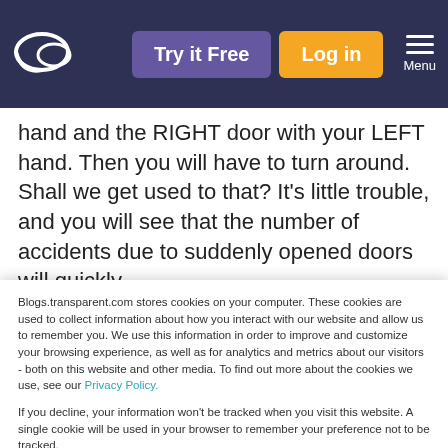[Figure (screenshot): Navigation bar with logo, Try it Free button (purple), Log in button (yellow/orange), and Menu icon on dark navy background]
hand and the RIGHT door with your LEFT hand. Then you will have to turn around. Shall we get used to that? It's little trouble, and you will see that the number of accidents due to suddenly opened doors will quickly
Blogs.transparent.com stores cookies on your computer. These cookies are used to collect information about how you interact with our website and allow us to remember you. We use this information in order to improve and customize your browsing experience, as well as for analytics and metrics about our visitors - both on this website and other media. To find out more about the cookies we use, see our Privacy Policy.
If you decline, your information won't be tracked when you visit this website. A single cookie will be used in your browser to remember your preference not to be tracked.